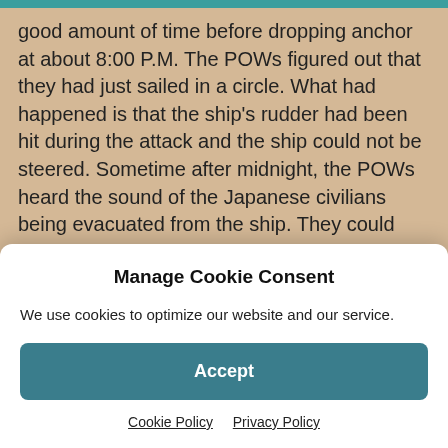good amount of time before dropping anchor at about 8:00 P.M. The POWs figured out that they had just sailed in a circle. What had happened is that the ship's rudder had been hit during the attack and the ship could not be steered. Sometime after midnight, the POWs heard the sound of the Japanese civilians being evacuated from the ship. They could hear boats being rowed, people shouting and the sound of children and babies crying until about 3:00 A.M. They also heard the voices of the men in the forward hold shouting and the words "quiet" and "at ease men" over and over. During the night, the POW medics
Manage Cookie Consent
We use cookies to optimize our website and our service.
Accept
Cookie Policy   Privacy Policy